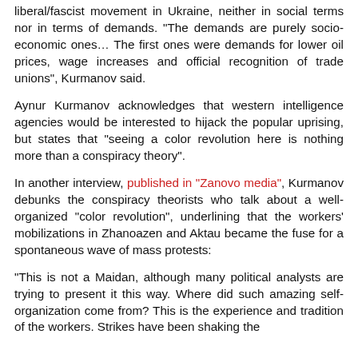liberal/fascist movement in Ukraine, neither in social terms nor in terms of demands. "The demands are purely socio-economic ones... The first ones were demands for lower oil prices, wage increases and official recognition of trade unions", Kurmanov said.
Aynur Kurmanov acknowledges that western intelligence agencies would be interested to hijack the popular uprising, but states that "seeing a color revolution here is nothing more than a conspiracy theory".
In another interview, published in "Zanovo media", Kurmanov debunks the conspiracy theorists who talk about a well-organized "color revolution", underlining that the workers' mobilizations in Zhanoazen and Aktau became the fuse for a spontaneous wave of mass protests:
"This is not a Maidan, although many political analysts are trying to present it this way. Where did such amazing self-organization come from? This is the experience and tradition of the workers. Strikes have been shaking the